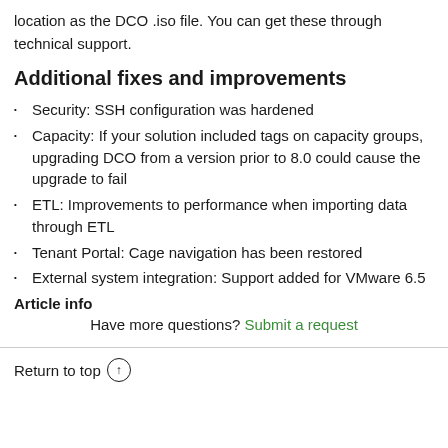location as the DCO .iso file. You can get these through technical support.
Additional fixes and improvements
Security: SSH configuration was hardened
Capacity: If your solution included tags on capacity groups, upgrading DCO from a version prior to 8.0 could cause the upgrade to fail
ETL: Improvements to performance when importing data through ETL
Tenant Portal: Cage navigation has been restored
External system integration: Support added for VMware 6.5
Article info
Have more questions? Submit a request
Return to top